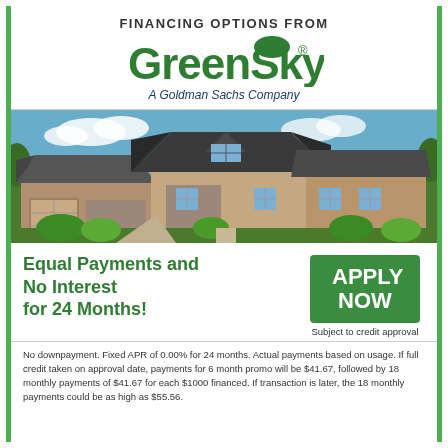FINANCING OPTIONS FROM
[Figure (logo): GreenSky logo — A Goldman Sachs Company]
[Figure (photo): Photograph of a large suburban house with garage, stone facade, and green landscaping under a blue sky.]
Equal Payments and No Interest for 24 Months!
APPLY NOW
Subject to credit approval
No downpayment. Fixed APR of 0.00% for 24 months. Actual payments based on usage. If full credit taken on approval date, payments for 6 month promo will be $41.67, followed by 18 monthly payments of $41.67 for each $1000 financed. If transaction is later, the 18 monthly payments could be as high as $55.56.